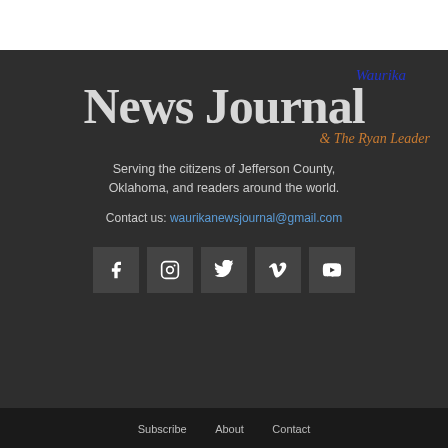[Figure (logo): Waurika News Journal & The Ryan Leader newspaper logo with blue italic 'Waurika' above large serif 'News Journal' text and orange italic '& The Ryan Leader' subtitle]
Serving the citizens of Jefferson County, Oklahoma, and readers around the world.
Contact us: waurikanewsjournal@gmail.com
[Figure (infographic): Row of five social media icon buttons: Facebook, Instagram, Twitter, Vimeo, YouTube]
Subscribe   About   Contact